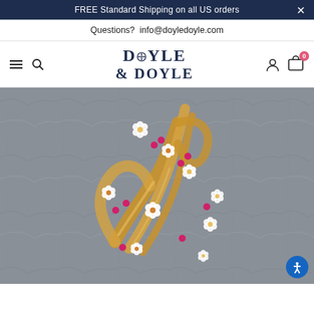FREE Standard Shipping on all US orders
Questions?  info@doyledoyle.com
[Figure (logo): Doyle & Doyle jewelry store logo with compass star emblem]
[Figure (photo): Close-up photo of a gold floral brooch with ruby and diamond flower clusters on a gray stone background]